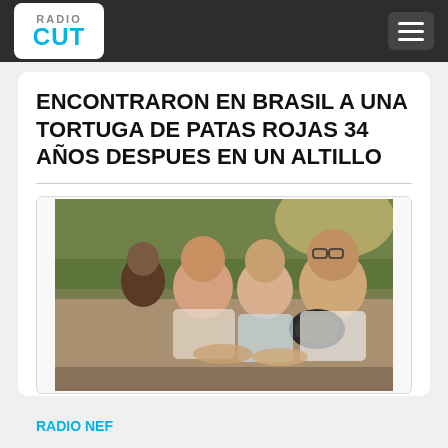RADIO CUT
ENCONTRARON EN BRASIL A UNA TORTUGA DE PATAS ROJAS 34 AÑOS DESPUES EN UN ALTILLO
[Figure (photo): Three women smiling and posing together outdoors, one holding a dark-colored turtle. Natural background with trees.]
RADIO NEF